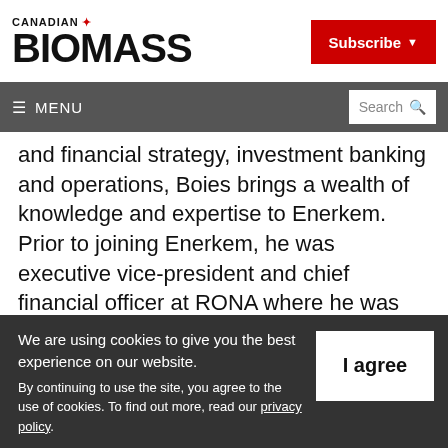CANADIAN BIOMASS
Subscribe
≡ MENU | Search
and financial strategy, investment banking and operations, Boies brings a wealth of knowledge and expertise to Enerkem. Prior to joining Enerkem, he was executive vice-president and chief financial officer at RONA where he was responsible for the financial and
We are using cookies to give you the best experience on our website. By continuing to use the site, you agree to the use of cookies. To find out more, read our privacy policy.